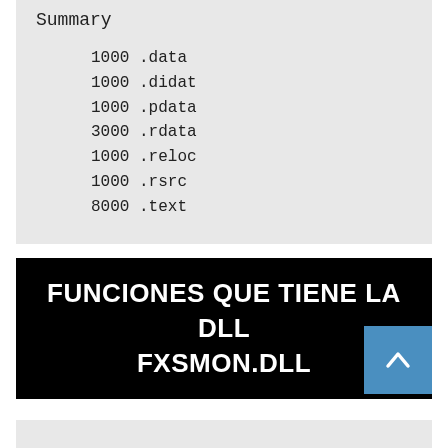Summary
1000 .data
1000 .didat
1000 .pdata
3000 .rdata
1000 .reloc
1000 .rsrc
8000 .text
FUNCIONES QUE TIENE LA DLL FXSMON.DLL